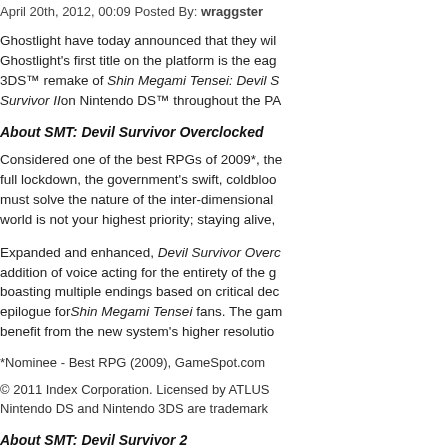April 20th, 2012, 00:09 Posted By: wraggster
Ghostlight have today announced that they will... Ghostlight's first title on the platform is the eag... 3DS™ remake of Shin Megami Tensei: Devil Survivor Overclocked, following the success of Devil Survivor IIon Nintendo DS™ throughout the PA...
About SMT: Devil Survivor Overclocked
Considered one of the best RPGs of 2009*, the... full lockdown, the government's swift, coldbloo... must solve the nature of the inter-dimensional... world is not your highest priority; staying alive,...
Expanded and enhanced, Devil Survivor Overc... addition of voice acting for the entirety of the g... boasting multiple endings based on critical dec... epilogue forShin Megami Tensei fans. The gam... benefit from the new system's higher resolution...
*Nominee - Best RPG (2009), GameSpot.com
© 2011 Index Corporation. Licensed by ATLUS... Nintendo DS and Nintendo 3DS are trademark...
About SMT: Devil Survivor 2
Hailed as "a solid sequel" by Nintendo Power,... Shin Megami Tensei in a new...